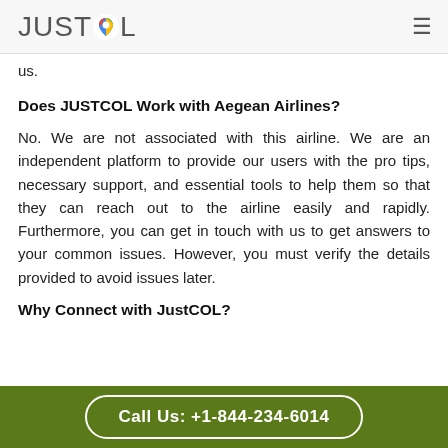JUSTCOL
us.
Does JUSTCOL Work with Aegean Airlines?
No. We are not associated with this airline. We are an independent platform to provide our users with the pro tips, necessary support, and essential tools to help them so that they can reach out to the airline easily and rapidly. Furthermore, you can get in touch with us to get answers to your common issues. However, you must verify the details provided to avoid issues later.
Why Connect with JustCOL?
Call Us: +1-844-234-6014